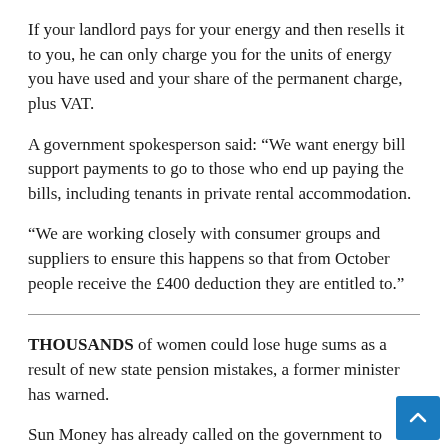If your landlord pays for your energy and then resells it to you, he can only charge you for the units of energy you have used and your share of the permanent charge, plus VAT.
A government spokesperson said: “We want energy bill support payments to go to those who end up paying the bills, including tenants in private rental accommodation.
“We are working closely with consumer groups and suppliers to ensure this happens so that from October people receive the £400 deduction they are entitled to.”
THOUSANDS of women could lose huge sums as a result of new state pension mistakes, a former minister has warned.
Sun Money has already called on the government to speed up efforts to reimburse around 134,000 pensioners, mostly women, who missed around £1billion due to earlier mistakes.